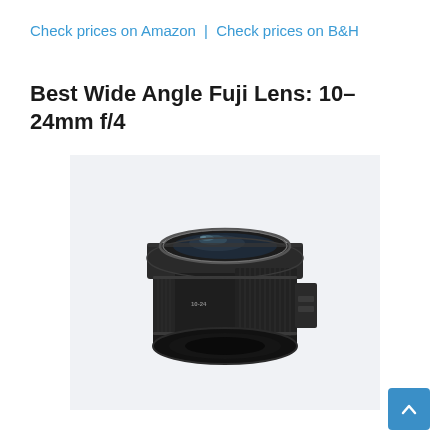Check prices on Amazon | Check prices on B&H
Best Wide Angle Fuji Lens: 10–24mm f/4
[Figure (photo): Fujifilm XF 10-24mm f/4 wide angle zoom lens, black, shown at a slight angle against a light gray background]